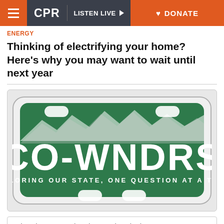CPR | LISTEN LIVE | DONATE
ENERGY
Thinking of electrifying your home? Here’s why you may want to wait until next year
[Figure (illustration): Colorado license plate graphic with green background, white mountain silhouette, large text reading CO-WNDRS, and subtitle EXPLORING OUR STATE, ONE QUESTION AT A TIME.]
What do you wonder about Colorado tha